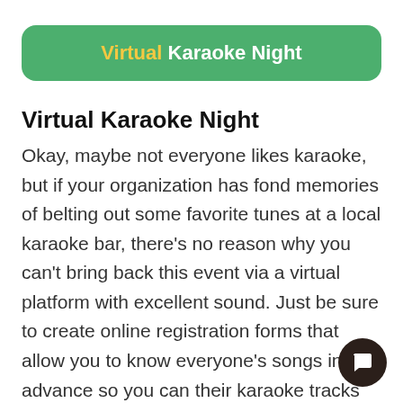Virtual Karaoke Night
Virtual Karaoke Night
Okay, maybe not everyone likes karaoke, but if your organization has fond memories of belting out some favorite tunes at a local karaoke bar, there's no reason why you can't bring back this event via a virtual platform with excellent sound. Just be sure to create online registration forms that allow you to know everyone's songs in advance so you can their karaoke tracks tested and ready.